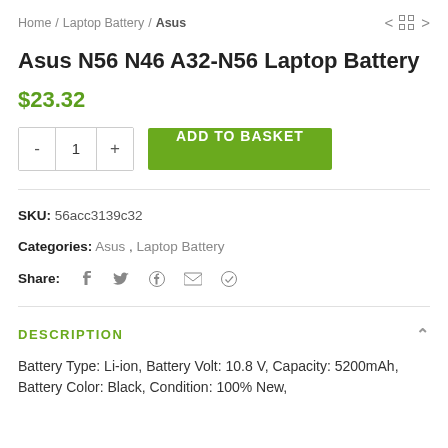Home / Laptop Battery / Asus
Asus N56 N46 A32-N56 Laptop Battery
$23.32
ADD TO BASKET
SKU: 56acc3139c32
Categories: Asus, Laptop Battery
Share:
DESCRIPTION
Battery Type: Li-ion, Battery Volt: 10.8 V, Capacity: 5200mAh, Battery Color: Black, Condition: 100% New,